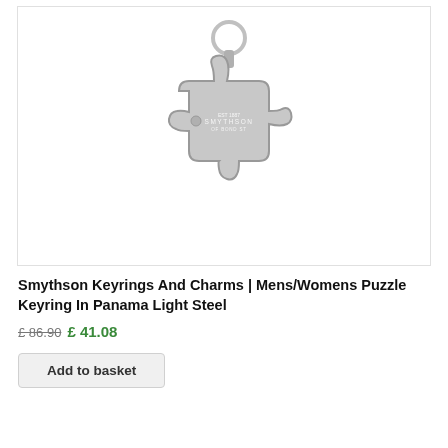[Figure (photo): A grey leather puzzle piece-shaped keyring charm by Smythson, with 'EST 1887 SMYTHSON OF BOND ST' embossed on the front. A silver metal ring and clasp are attached at the top.]
Smythson Keyrings And Charms | Mens/Womens Puzzle Keyring In Panama Light Steel
£ 86.90 £ 41.08
Add to basket